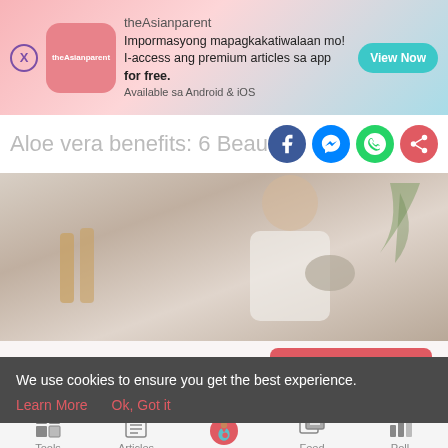[Figure (screenshot): Advertisement banner for theAsianparent app. Pink gradient background with logo, text in Filipino about premium articles, and a teal 'View Now' button.]
Aloe vera benefits: 6 Beauty treatmen…
[Figure (photo): Partial photo of a woman in white top holding a bowl, with aloe vera plant in background.]
6 min read
READ MORE →
[Figure (screenshot): Bottom navigation bar with icons: Tools, Articles, (pregnant woman center active), Feed, Poll]
We use cookies to ensure you get the best experience.
Learn More   Ok, Got it